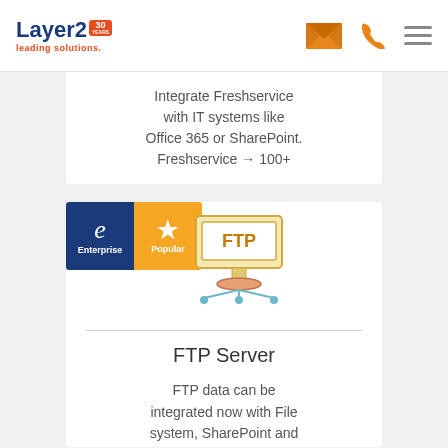[Figure (logo): Layer2 logo with '30 YEARS' badge and 'leading solutions.' tagline in orange]
[Figure (illustration): Orange envelope icon in header navigation]
[Figure (illustration): Orange phone icon in header navigation]
Integrate Freshservice with IT systems like Office 365 or SharePoint. Freshservice → 100+
[Figure (illustration): Enterprise badge (dark blue with 'e') and Popular badge (orange with star), along with FTP Server icon showing a network diagram]
FTP Server
FTP data can be integrated now with File system, SharePoint and 100+ systems.